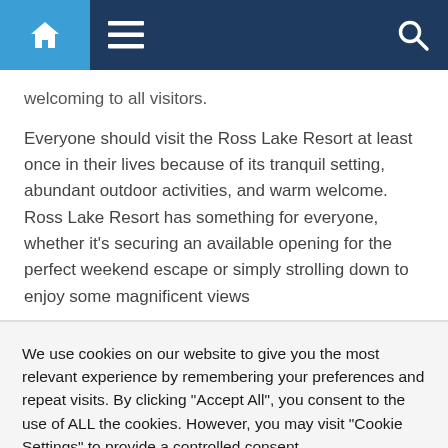[Figure (screenshot): Website navigation bar with home icon (blue background), hamburger menu icon, and search icon on dark navy background]
welcoming to all visitors.
Everyone should visit the Ross Lake Resort at least once in their lives because of its tranquil setting, abundant outdoor activities, and warm welcome. Ross Lake Resort has something for everyone, whether it's securing an available opening for the perfect weekend escape or simply strolling down to enjoy some magnificent views
We use cookies on our website to give you the most relevant experience by remembering your preferences and repeat visits. By clicking "Accept All", you consent to the use of ALL the cookies. However, you may visit "Cookie Settings" to provide a controlled consent.